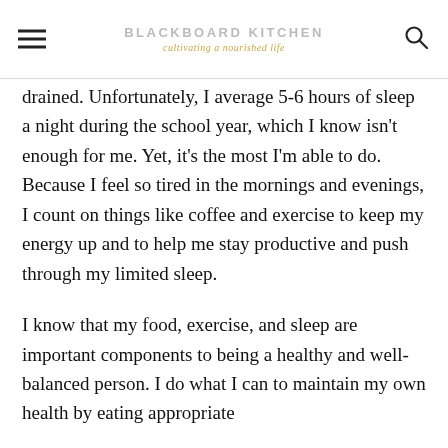BLACKBOARD KITCHEN — cultivating a nourished life
drained. Unfortunately, I average 5-6 hours of sleep a night during the school year, which I know isn't enough for me. Yet, it's the most I'm able to do. Because I feel so tired in the mornings and evenings, I count on things like coffee and exercise to keep my energy up and to help me stay productive and push through my limited sleep.
I know that my food, exercise, and sleep are important components to being a healthy and well-balanced person. I do what I can to maintain my own health by eating appropriate